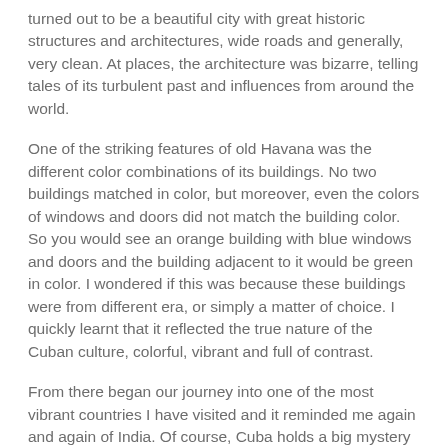turned out to be a beautiful city with great historic structures and architectures, wide roads and generally, very clean. At places, the architecture was bizarre, telling tales of its turbulent past and influences from around the world.
One of the striking features of old Havana was the different color combinations of its buildings. No two buildings matched in color, but moreover, even the colors of windows and doors did not match the building color. So you would see an orange building with blue windows and doors and the building adjacent to it would be green in color. I wondered if this was because these buildings were from different era, or simply a matter of choice. I quickly learnt that it reflected the true nature of the Cuban culture, colorful, vibrant and full of contrast.
From there began our journey into one of the most vibrant countries I have visited and it reminded me again and again of India. Of course, Cuba holds a big mystery within due to its troubled relationship with US for almost half a century, and that only made it better as we tried digging to understand it. There are posters of Fidel Castro and Ernesto